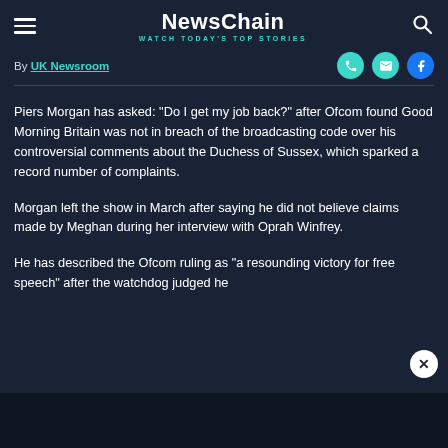NewsChain — WATCH TODAY'S TOP STORIES
By UK Newsroom
Piers Morgan has asked: “Do I get my job back?” after Ofcom found Good Morning Britain was not in breach of the broadcasting code over his controversial comments about the Duchess of Sussex, which sparked a record number of complaints.
Morgan left the show in March after saying he did not believe claims made by Meghan during her interview with Oprah Winfrey.
He has described the Ofcom ruling as “a resounding victory for free speech” after the watchdog judged he